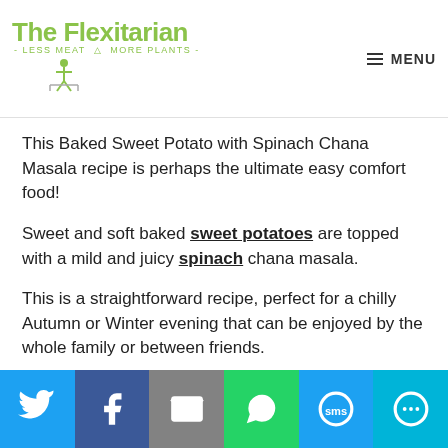The Flexitarian - Less Meat More Plants - MENU
This Baked Sweet Potato with Spinach Chana Masala recipe is perhaps the ultimate easy comfort food!
Sweet and soft baked sweet potatoes are topped with a mild and juicy spinach chana masala.
This is a straightforward recipe, perfect for a chilly Autumn or Winter evening that can be enjoyed by the whole family or between friends.
Twitter | Facebook | Email | WhatsApp | SMS | More